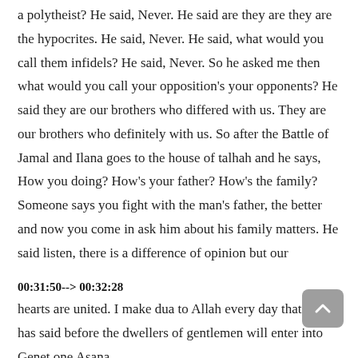a polytheist? He said, Never. He said are they are they are the hypocrites. He said, Never. He said, what would you call them infidels? He said, Never. So he asked me then what would you call your opposition's your opponents? He said they are our brothers who differed with us. They are our brothers who definitely with us. So after the Battle of Jamal and Ilana goes to the house of talhah and he says, How you doing? How's your father? How's the family? Someone says you fight with the man's father, the better and now you come in ask him about his family matters. He said listen, there is a difference of opinion but our
00:31:50--> 00:32:28
hearts are united. I make dua to Allah every day that Allah has said before the dwellers of gentlemen will enter into Genet one Asana